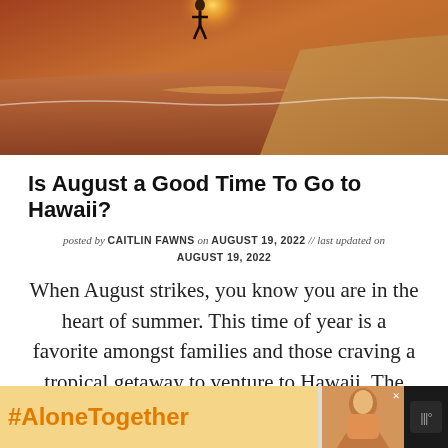[Figure (photo): Hero image of a person at a beach during sunset with warm golden-orange tones, waves lapping the shore]
Is August a Good Time To Go to Hawaii?
posted by CAITLIN FAWNS on AUGUST 19, 2022 // last updated on AUGUST 19, 2022
When August strikes, you know you are in the heart of summer. This time of year is a favorite amongst families and those craving a tropical getaway to venture to Hawaii. The temperatures are warm, …
[Figure (screenshot): Advertisement banner with #AloneTogether hashtag in orange text on yellow background, with a person photo on the right and a dark background]